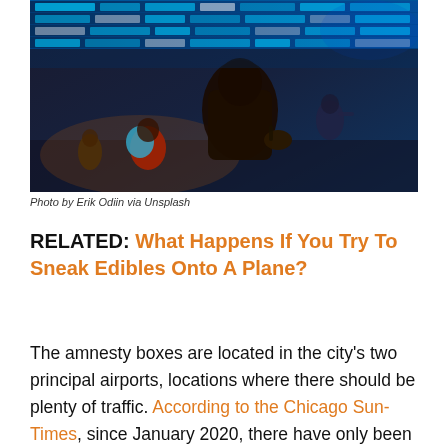[Figure (photo): Airport scene with travelers and a large departure/arrival board in the background. A person in a dark jacket holding a camera is visible in the foreground, with other travelers and blue-lit signs in the background.]
Photo by Erik Odiin via Unsplash
RELATED: What Happens If You Try To Sneak Edibles Onto A Plane?
The amnesty boxes are located in the city's two principal airports, locations where there should be plenty of traffic. According to the Chicago Sun-Times, since January 2020, there have only been 34 collections made from these boxes. This information